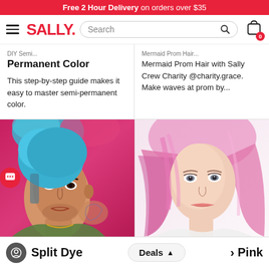Free 2 Hour Delivery on orders over $35
[Figure (screenshot): Sally Beauty website navigation bar with hamburger menu, SALLY. logo in red, search bar, and cart icon with 0 badge]
Permanent Color
This step-by-step guide makes it easy to master semi-permanent color.
Mermaid Prom Hair with Sally Crew Charity @charity.grace. Make waves at prom by...
[Figure (photo): Man with blue and pink split dye hair against colorful graffiti background]
[Figure (photo): Woman with long flowing pink hair against white background]
Split Dye  Deals  Pink